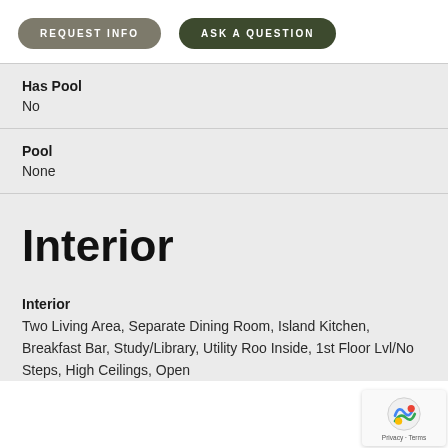[Figure (other): Two pill-shaped buttons: 'REQUEST INFO' (gray-brown) and 'ASK A QUESTION' (dark green)]
Has Pool
No
Pool
None
Interior
Interior
Two Living Area, Separate Dining Room, Island Kitchen, Breakfast Bar, Study/Library, Utility Roo Inside, 1st Floor Lvl/No Steps, High Ceilings, Open